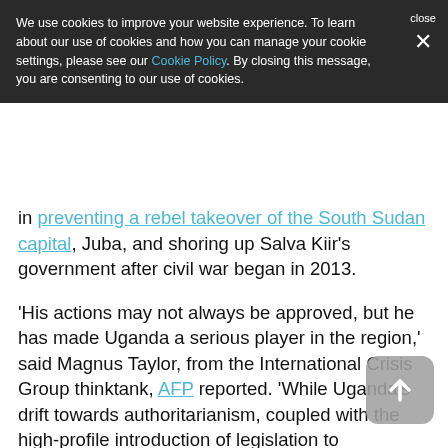We use cookies to improve your website experience. To learn about our use of cookies and how you can manage your cookie settings, please see our Cookie Policy. By closing this message, you are consenting to our use of cookies.
in preventing a rebel takeover of the South Sudan capital, Juba, and shoring up Salva Kiir's government after civil war began in 2013.
'His actions may not always be approved, but he has made Uganda a serious player in the region,' said Magnus Taylor, from the International Crisis Group thinktank, AFP reported. 'While Uganda's drift towards authoritarianism, coupled with the high-profile introduction of legislation to criminalise homosexuality and regulate the operational environment for NGOs, may not win approval from western actors, Museveni has embedded himself to the extent that the internationals accept his military contributions with one hand whilst wagging a censorious finger with the other.'